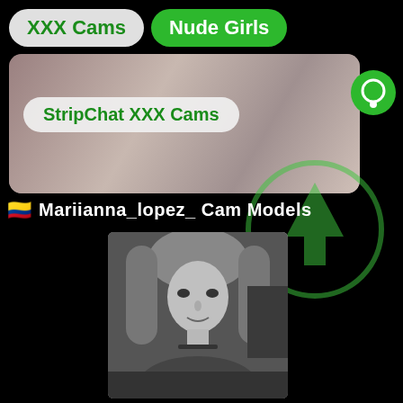XXX Cams
Nude Girls
[Figure (photo): Blurred close-up background image used as banner behind StripChat XXX Cams button]
StripChat XXX Cams
🇨🇴 Mariianna_lopez_ Cam Models
[Figure (photo): Black and white portrait photo of a blonde young woman with long hair and tattoos]